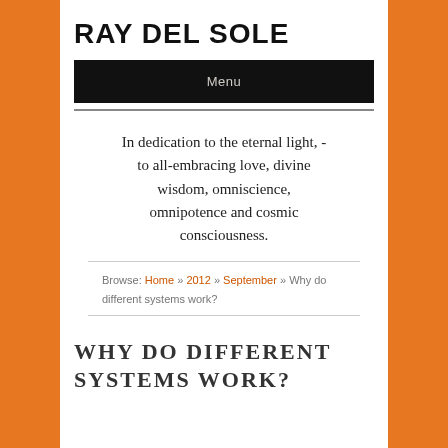RAY DEL SOLE
Menu
In dedication to the eternal light, - to all-embracing love, divine wisdom, omniscience, omnipotence and cosmic consciousness.
Browse: Home » 2012 » September » Why do different systems work?
WHY DO DIFFERENT SYSTEMS WORK?